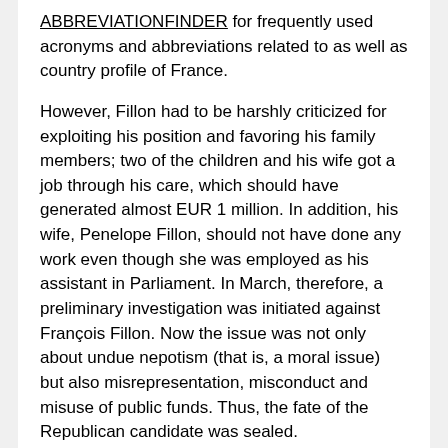ABBREVIATIONFINDER for frequently used acronyms and abbreviations related to as well as country profile of France.
However, Fillon had to be harshly criticized for exploiting his position and favoring his family members; two of the children and his wife got a job through his care, which should have generated almost EUR 1 million. In addition, his wife, Penelope Fillon, should not have done any work even though she was employed as his assistant in Parliament. In March, therefore, a preliminary investigation was initiated against François Fillon. Now the issue was not only about undue nepotism (that is, a moral issue) but also misrepresentation, misconduct and misuse of public funds. Thus, the fate of the Republican candidate was sealed.
In the first round of the April 23 presidential election, center candidate Emmanuel Macron and right-wing populist Marine Le Pen won. According to Countryaah.com, Macron received 23.9% of the vote, Le Pen 21.4%, Republican Fillon 19.9%, Left Party Jean-Luc Mélenchon 19.6% and Socialist Party Hamon just 6.3%. After the